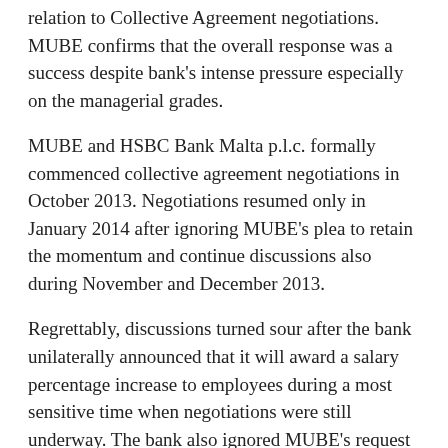relation to Collective Agreement negotiations. MUBE confirms that the overall response was a success despite bank's intense pressure especially on the managerial grades.
MUBE and HSBC Bank Malta p.l.c. formally commenced collective agreement negotiations in October 2013. Negotiations resumed only in January 2014 after ignoring MUBE's plea to retain the momentum and continue discussions also during November and December 2013.
Regrettably, discussions turned sour after the bank unilaterally announced that it will award a salary percentage increase to employees during a most sensitive time when negotiations were still underway. The bank also ignored MUBE's request for an official reply by Monday 3 February 2014 on three principal issues relating to the salary percentage pot, the term of the Collective Agreement and the Home Loan interest rate applicable to HSBC employees. No official reply has been received from HSBC to date.